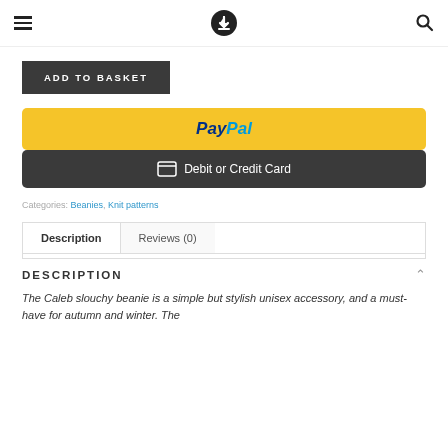navigation header with hamburger, download icon, search icon
ADD TO BASKET
[Figure (screenshot): PayPal payment button (yellow background with PayPal logo)]
[Figure (screenshot): Debit or Credit Card payment button (dark background with card icon)]
Categories: Beanies, Knit patterns
Description | Reviews (0) tabs
DESCRIPTION
The Caleb slouchy beanie is a simple but stylish unisex accessory, and a must-have for autumn and winter. The